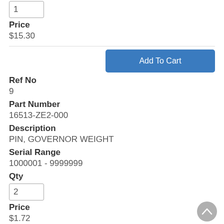1 (quantity input, first item)
Price
$15.30
Add To Cart
Ref No
9
Part Number
16513-ZE2-000
Description
PIN, GOVERNOR WEIGHT
Serial Range
1000001 - 9999999
Qty
2 (quantity input, second item)
Price
$1.72
Add To Cart